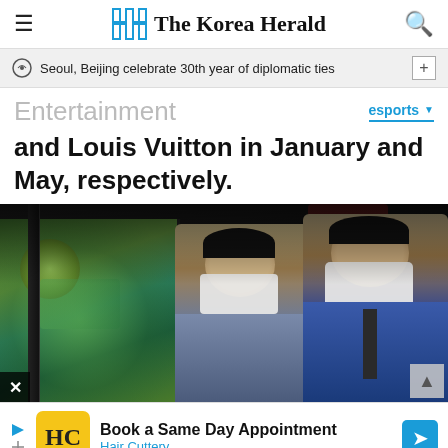The Korea Herald
Seoul, Beijing celebrate 30th year of diplomatic ties
Entertainment
esports
and Louis Vuitton in January and May, respectively.
[Figure (photo): Two men wearing white masks seated at gaming computers at an esports event, one pointing at the screen showing a game, in a dark arena setting.]
Book a Same Day Appointment
Hair Cuttery